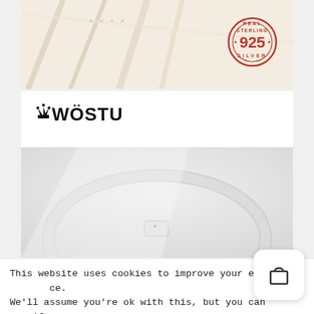[Figure (photo): Close-up of cream/ivory fabric with a red circular stamp reading 'REAL STERLING SILVER 925']
[Figure (photo): WOSTU brand logo in black bold text with a crown icon, above a close-up photo of a silver bangle/ring with a heart detail on a white background]
This website uses cookies to improve your experience. We'll assume you're ok with this, but you can opt-out if
[Figure (illustration): Shopping cart icon in a white rounded square popup]
[Figure (illustration): Yellow bottom navigation bar with home, heart, menu, and lock icons]